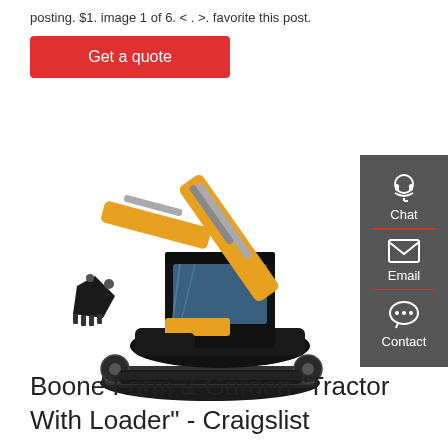posting. $1. image 1 of 6. < . >. favorite this post.
Get a quote
[Figure (photo): Yellow and black mini excavator / compact track excavator with boom arm raised and bucket attachment, on white background]
[Figure (infographic): Dark grey sidebar panel with three contact options: Chat (headset icon), Email (envelope icon), Contact (speech bubble with dots icon), separated by red dividers]
Boone Farm & Garden "Tractor With Loader" - Craigslist